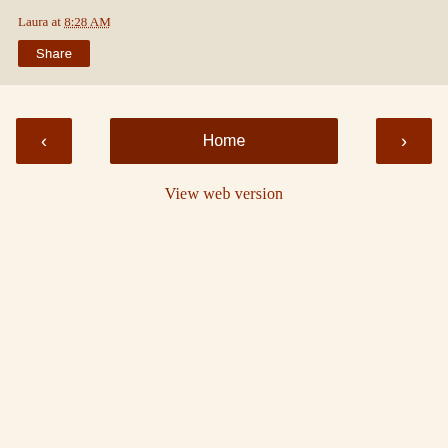Laura at 8:28 AM
Share
‹
Home
›
View web version